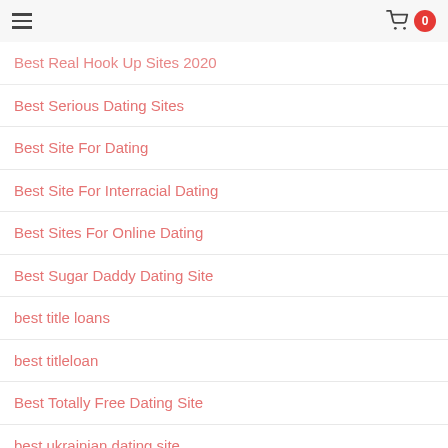Menu | Cart 0
Best Real Hook Up Sites 2020
Best Serious Dating Sites
Best Site For Dating
Best Site For Interracial Dating
Best Sites For Online Dating
Best Sugar Daddy Dating Site
best title loans
best titleloan
Best Totally Free Dating Site
best ukrainian dating site
Best Website Dating